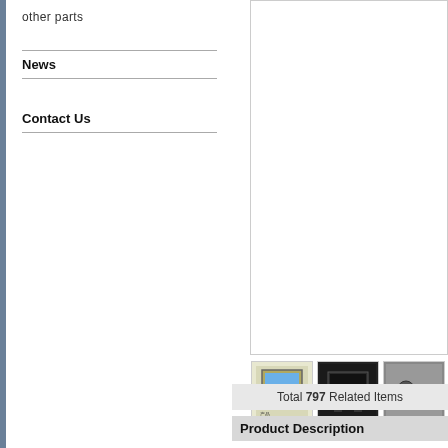other parts
News
Contact Us
[Figure (photo): Large main product image area (white/blank)]
[Figure (photo): Thumbnail gallery with 4 product photos: monitor device, black unit, cables/connectors, blue screen display]
Total 797 Related Items
Product Description